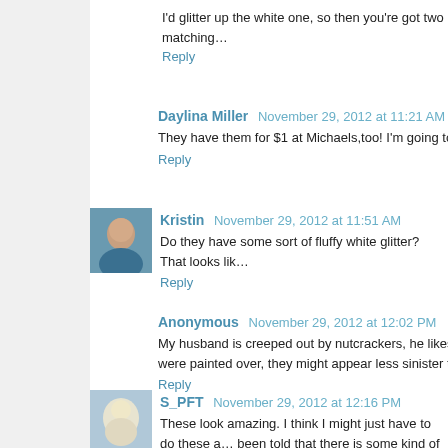I'd glitter up the white one, so then you're got two matching…
Reply
Daylina Miller  November 29, 2012 at 11:21 AM
They have them for $1 at Michaels,too! I'm going to have to…
Reply
[Figure (photo): Avatar photo of Kristin]
Kristin  November 29, 2012 at 11:51 AM
Do they have some sort of fluffy white glitter? That looks lik…
Reply
Anonymous  November 29, 2012 at 12:02 PM
My husband is creeped out by nutcrackers, he likes to jok… were painted over, they might appear less sinister to him.
Reply
[Figure (photo): Avatar photo of S_PFT]
S_PFT  November 29, 2012 at 12:16 PM
These look amazing. I think I might just have to do these a… been told that there is some kind of filler that you can use t… fix your white nutcracker. But either way, they all look ama…